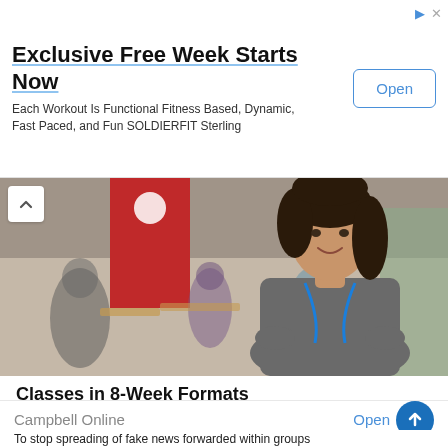Exclusive Free Week Starts Now
Each Workout Is Functional Fitness Based, Dynamic, Fast Paced, and Fun SOLDIERFIT Sterling
[Figure (photo): A smiling woman with dark hair wearing a blue lanyard and grey top, standing in a busy indoor space with people and wooden furniture visible in the background.]
Classes in 8-Week Formats
Campbell Online
To stop spreading of fake news forwarded within groups